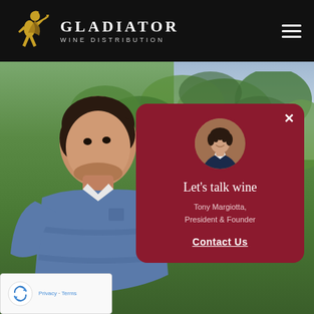[Figure (logo): Gladiator Wine Distribution logo with golden gladiator figure and white text on black background]
[Figure (photo): Man in blue polo shirt outdoors in vineyard setting, with dark hair, looking to the side. Background shows green vine leaves and sky.]
[Figure (infographic): Dark red modal card with circular avatar photo of Tony Margiotta, text 'Let's talk wine', 'Tony Margiotta, President & Founder', and 'Contact Us' link. Close button (×) in top right corner.]
[Figure (other): Google reCAPTCHA widget in bottom left corner showing recycling arrow icon with 'Privacy - Terms' text]